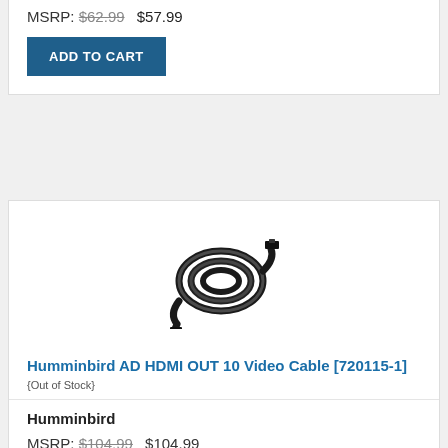MSRP: $62.99  $57.99
ADD TO CART
[Figure (photo): Coiled black HDMI cable with connectors on both ends]
Humminbird AD HDMI OUT 10 Video Cable [720115-1] {Out of Stock}
Humminbird
MSRP: $104.99  $104.99